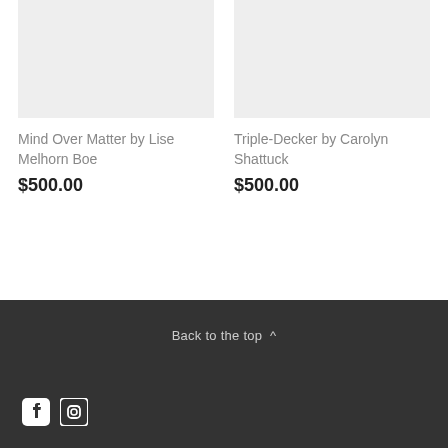[Figure (photo): Product image placeholder (light gray rectangle) for Mind Over Matter by Lise Melhorn Boe]
Mind Over Matter by Lise Melhorn Boe
$500.00
[Figure (photo): Product image placeholder (light gray rectangle) for Triple-Decker by Carolyn Shattuck]
Triple-Decker by Carolyn Shattuck
$500.00
Back to the top ^